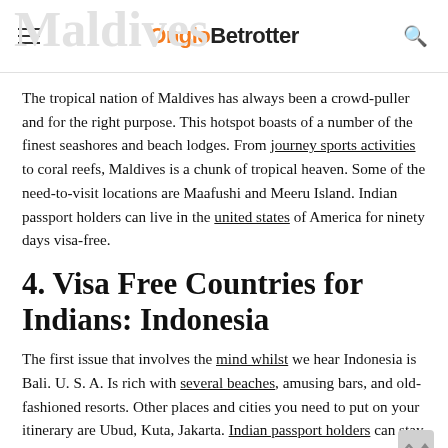OngloBetrotter
The tropical nation of Maldives has always been a crowd-puller and for the right purpose. This hotspot boasts of a number of the finest seashores and beach lodges. From journey sports activities to coral reefs, Maldives is a chunk of tropical heaven. Some of the need-to-visit locations are Maafushi and Meeru Island. Indian passport holders can live in the united states of America for ninety days visa-free.
4. Visa Free Countries for Indians: Indonesia
The first issue that involves the mind whilst we hear Indonesia is Bali. U. S. A. Is rich with several beaches, amusing bars, and old-fashioned resorts. Other places and cities you need to put on your itinerary are Ubud, Kuta, Jakarta. Indian passport holders can stay in Indonesia for up to 30 days without a visa.